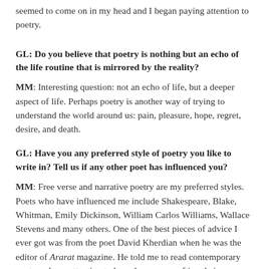seemed to come on in my head and I began paying attention to poetry.
GL: Do you believe that poetry is nothing but an echo of the life routine that is mirrored by the reality?
MM: Interesting question: not an echo of life, but a deeper aspect of life. Perhaps poetry is another way of trying to understand the world around us: pain, pleasure, hope, regret, desire, and death.
GL: Have you any preferred style of poetry you like to write in? Tell us if any other poet has influenced you?
MM: Free verse and narrative poetry are my preferred styles. Poets who have influenced me include Shakespeare, Blake, Whitman, Emily Dickinson, William Carlos Williams, Wallace Stevens and many others. One of the best pieces of advice I ever got was from the poet David Kherdian when he was the editor of Ararat magazine. He told me to read contemporary poets and pay attention to how they were crafting their poems.